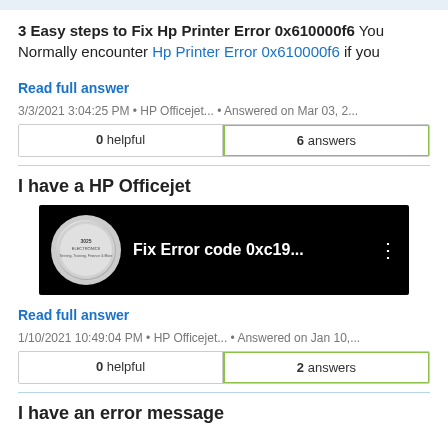3 Easy steps to Fix Hp Printer Error 0x610000f6 You Normally encounter Hp Printer Error 0x610000f6 if you
Read full answer
3/3/2021 3:04:25 PM • HP Officejet... • Answered on Mar 03, 2...
| helpful | answers |
| --- | --- |
| 0 helpful | 6 answers |
I have a HP Officejet
[Figure (screenshot): Video thumbnail showing '3025 Electronics' logo and text 'Fix Error code 0xc19...' on black background]
Read full answer
1/10/2021 10:49:04 PM • HP Officejet... • Answered on Jan 10,...
| helpful | answers |
| --- | --- |
| 0 helpful | 2 answers |
I have an error message